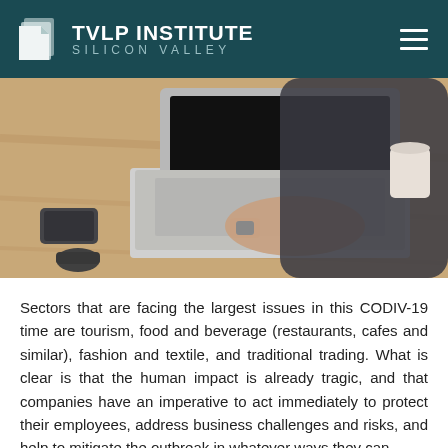TVLP INSTITUTE SILICON VALLEY
[Figure (photo): Person typing on a laptop computer placed on a wooden desk, with a smartphone and other items nearby. Shot from behind/above the person's shoulder.]
Sectors that are facing the largest issues in this CODIV-19 time are tourism, food and beverage (restaurants, cafes and similar), fashion and textile, and traditional trading. What is clear is that the human impact is already tragic, and that companies have an imperative to act immediately to protect their employees, address business challenges and risks, and help to mitigate the outbreak in whatever ways they can.